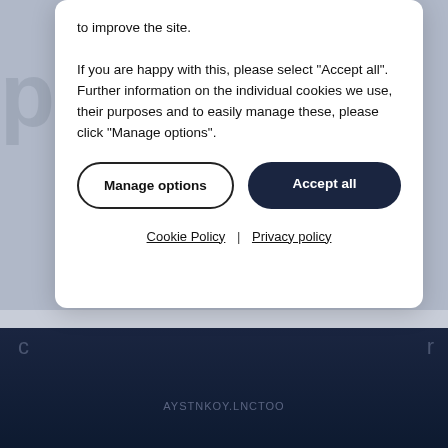to improve the site. If you are happy with this, please select "Accept all". Further information on the individual cookies we use, their purposes and to easily manage these, please click "Manage options".
Manage options | Accept all
Cookie Policy | Privacy policy